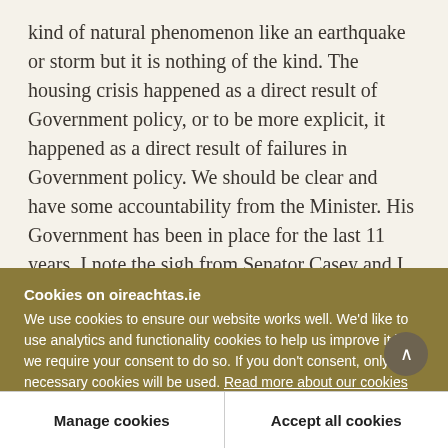kind of natural phenomenon like an earthquake or storm but it is nothing of the kind. The housing crisis happened as a direct result of Government policy, or to be more explicit, it happened as a direct result of failures in Government policy. We should be clear and have some accountability from the Minister. His Government has been in place for the last 11 years. I note the sigh from Senator Casey and I also note the fact that there is not the width of a cigarette paper of difference between Fianna Fáil and Fine Gael on
Cookies on oireachtas.ie
We use cookies to ensure our website works well. We'd like to use analytics and functionality cookies to help us improve it but we require your consent to do so. If you don't consent, only necessary cookies will be used. Read more about our cookies
Manage cookies
Accept all cookies